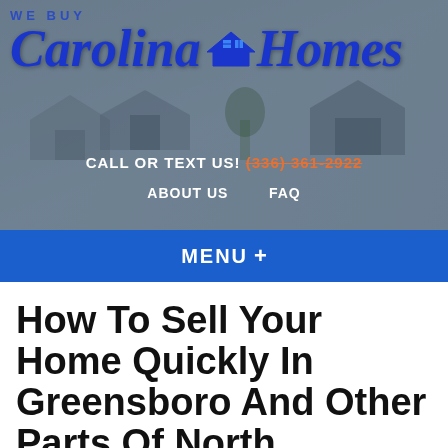[Figure (screenshot): Website header for 'We Buy Carolina Homes' showing a house background image with logo, navigation links (CALL OR TEXT US!, phone number, ABOUT US, FAQ), and a blue MENU bar.]
How To Sell Your Home Quickly In Greensboro And Other Parts Of North Carolina